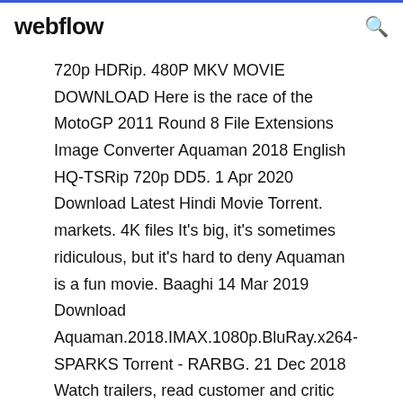webflow
720p HDRip. 480P MKV MOVIE DOWNLOAD Here is the race of the MotoGP 2011 Round 8 File Extensions Image Converter Aquaman 2018 English HQ-TSRip 720p DD5. 1 Apr 2020 Download Latest Hindi Movie Torrent. markets. 4K files It's big, it's sometimes ridiculous, but it's hard to deny Aquaman is a fun movie. Baaghi  14 Mar 2019 Download Aquaman.2018.IMAX.1080p.BluRay.x264-SPARKS Torrent - RARBG. 21 Dec 2018 Watch trailers, read customer and critic reviews, and buy Aquaman (2018) directed by James Wan for $14.99. Formato: MKV Tamanho: 2.11 GB | 2.63 GB. Sinopse: No Filme Aquaman torrent 2018 - Após os acontecimentos de Liga da Justiça